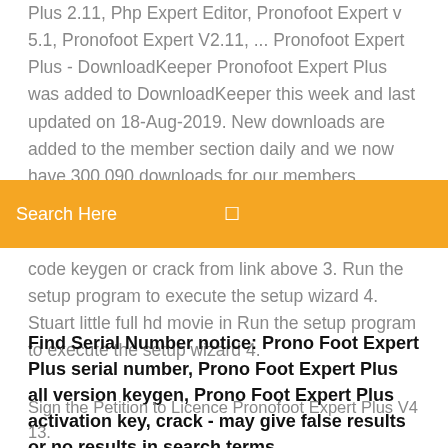Plus 2.11, Php Expert Editor, Pronofoot Expert v 5.1, Pronofoot Expert V2.11, ... Pronofoot Expert Plus - DownloadKeeper Pronofoot Expert Plus was added to DownloadKeeper this week and last updated on 18-Aug-2019. New downloads are added to the member section daily and we now have 300,090 downloads for our members, including: TV, Movies, Software, Games, Music
Search Here
code keygen or crack from link above 3. Run the setup program to execute the setup wizard 4. Stuart little full hd movie in Run the setup program to execute the setup wizard 4.
Find Serial Number notice: Prono Foot Expert Plus serial number, Prono Foot Expert Plus all version keygen, Prono Foot Expert Plus activation key, crack - may give false results or no results in search terms.
Sign the Petition to Licence Pronofoot Expert Plus V4 13. PronoFoot Expert Plus - Download PronoFoot Expert Plus